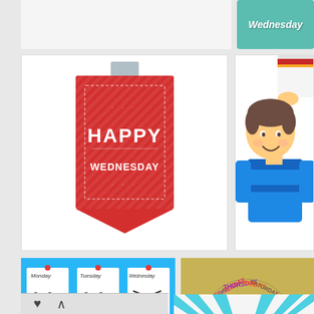[Figure (illustration): Partial view of a gray/white illustrated Wednesday-themed image at top left]
[Figure (illustration): Teal/green Wednesday text banner at top right in cursive style]
[Figure (illustration): Red ribbon/banner with 'HAPPY WEDNESDAY' text in white, with dashed border and v-cut bottom]
[Figure (illustration): Ash Wednesday cartoon: a boy in blue shirt getting ash cross drawn on forehead by a priestly hand with red/gold robe sleeve]
[Figure (illustration): Blue background with 6 note cards labeled Monday through Saturday & Sunday, each with a different hand-drawn face emotion, pinned with red push pins]
[Figure (illustration): Vintage-style tree made of days-of-the-week text: Monday, Tuesday, Wednesday, Thursday, Friday, Saturday, Sunday arranged in colorful typography]
[Figure (illustration): Partial red and white sunburst striped pattern at bottom left]
[Figure (illustration): Partial teal/blue and white sunburst striped pattern at bottom right]
[Figure (infographic): Heart and arrow UI icons at bottom left corner overlay]